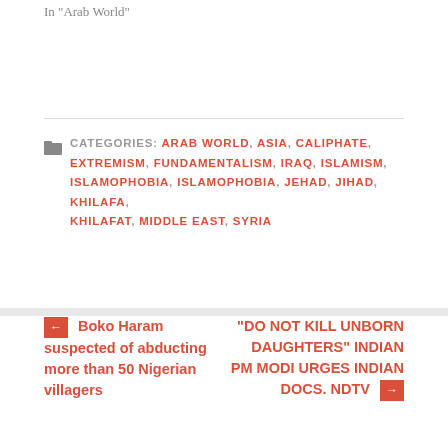In "Arab World"
CATEGORIES: ARAB WORLD, ASIA, CALIPHATE, EXTREMISM, FUNDAMENTALISM, IRAQ, ISLAMISM, ISLAMOPHOBIA, ISLAMOPHOBIA, JEHAD, JIHAD, KHILAFA, KHILAFAT, MIDDLE EAST, SYRIA
← Boko Haram suspected of abducting more than 50 Nigerian villagers
"DO NOT KILL UNBORN DAUGHTERS" INDIAN PM MODI URGES INDIAN DOCS. NDTV →
Leave a Reply
Enter your comment here...